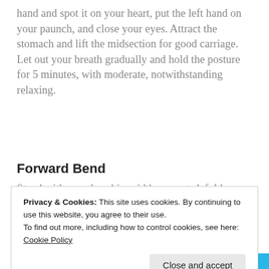hand and spot it on your heart, put the left hand on your paunch, and close your eyes. Attract the stomach and lift the midsection for good carriage. Let out your breath gradually and hold the posture for 5 minutes, with moderate, notwithstanding relaxing.
[Figure (other): Advertisements banner with 'DAYONE' text in blue and partial text 'The only journal...' on right]
Forward Bend
Stand with your legs hip-width separated, fold your body forward and...
Privacy & Cookies: This site uses cookies. By continuing to use this website, you agree to their use.
To find out more, including how to control cookies, see here: Cookie Policy
Sit with the soles of your feet together and your knees